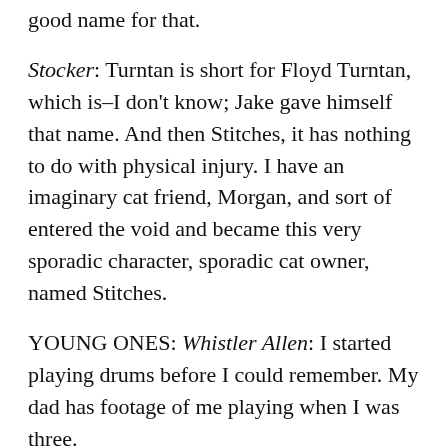good name for that.
Stocker: Turntan is short for Floyd Turntan, which is–I don't know; Jake gave himself that name. And then Stitches, it has nothing to do with physical injury. I have an imaginary cat friend, Morgan, and sort of entered the void and became this very sporadic character, sporadic cat owner, named Stitches.
YOUNG ONES: Whistler Allen: I started playing drums before I could remember. My dad has footage of me playing when I was three.